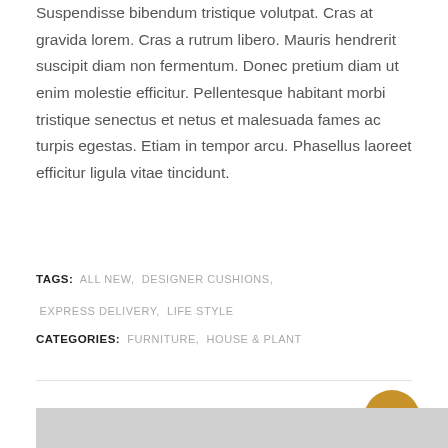Suspendisse bibendum tristique volutpat. Cras at gravida lorem. Cras a rutrum libero. Mauris hendrerit suscipit diam non fermentum. Donec pretium diam ut enim molestie efficitur. Pellentesque habitant morbi tristique senectus et netus et malesuada fames ac turpis egestas. Etiam in tempor arcu. Phasellus laoreet efficitur ligula vitae tincidunt.
TAGS: ALL NEW, DESIGNER CUSHIONS, EXPRESS DELIVERY, LIFE STYLE
CATEGORIES: FURNITURE, HOUSE & PLANT